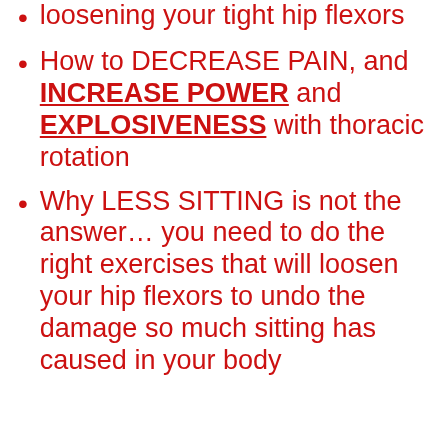loosening your tight hip flexors
How to DECREASE PAIN, and INCREASE POWER and EXPLOSIVENESS with thoracic rotation
Why LESS SITTING is not the answer… you need to do the right exercises that will loosen your hip flexors to undo the damage so much sitting has caused in your body